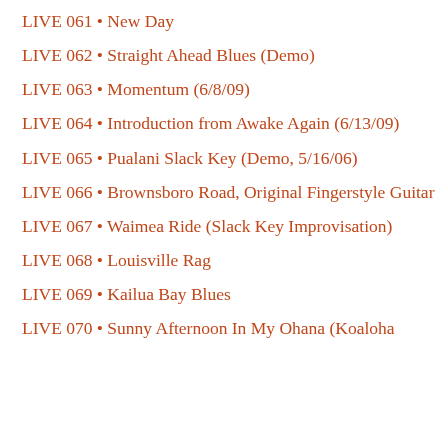LIVE 061 • New Day
LIVE 062 • Straight Ahead Blues (Demo)
LIVE 063 • Momentum (6/8/09)
LIVE 064 • Introduction from Awake Again (6/13/09)
LIVE 065 • Pualani Slack Key (Demo, 5/16/06)
LIVE 066 • Brownsboro Road, Original Fingerstyle Guitar
LIVE 067 • Waimea Ride (Slack Key Improvisation)
LIVE 068 • Louisville Rag
LIVE 069 • Kailua Bay Blues
LIVE 070 • Sunny Afternoon In My Ohana (Koaloha